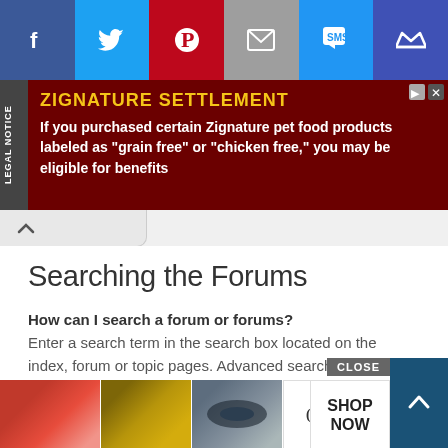[Figure (screenshot): Social sharing toolbar with Facebook (blue), Twitter (light blue), Pinterest (red), Email (gray), SMS (blue), Crown/VIP (dark blue) buttons]
[Figure (screenshot): Legal notice ad banner with dark red background, yellow title 'ZIGNATURE SETTLEMENT', white body text about pet food products. Has Legal Notice side tab and close/ad icons.]
Searching the Forums
How can I search a forum or forums?
Enter a search term in the search box located on the index, forum or topic pages. Advanced search can be accessed by clicking the “Advance Search” link which is available on all pages on the forum. How to access the search may depend on the style used.
Top
Why
Your
com
[Figure (screenshot): Bottom ad overlay showing makeup/beauty images and ULTA logo with CLOSE button and SHOP NOW call to action, plus a teal scroll-up button]